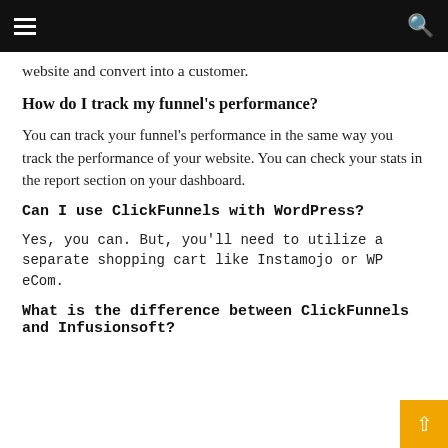website and convert into a customer.
How do I track my funnel's performance?
You can track your funnel's performance in the same way you track the performance of your website. You can check your stats in the report section on your dashboard.
Can I use ClickFunnels with WordPress?
Yes, you can. But, you'll need to utilize a separate shopping cart like Instamojo or WP eCom.
What is the difference between ClickFunnels and Infusionsoft?